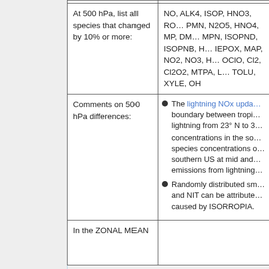|  |  |
| --- | --- |
| At 500 hPa, list all species that changed by 10% or more: | NO, ALK4, ISOP, HNO3, RO... PMN, N2O5, HNO4, MP, DM... MPN, ISOPND, ISOPNB, H... IEPOX, MAP, NO2, NO3, H... OClO, Cl2, Cl2O2, MTPA, L... TOLU, XYLE, OH |
| Comments on 500 hPa differences: | • The lightning NOx upda... boundary between tropi... lightning from 23° N to 3... concentrations in the so... species concentrations o... southern US at mid and ... emissions from lightning... • Randomly distributed sm... and NIT can be attribute... caused by ISORROPIA. |
| In the ZONAL MEAN |  |